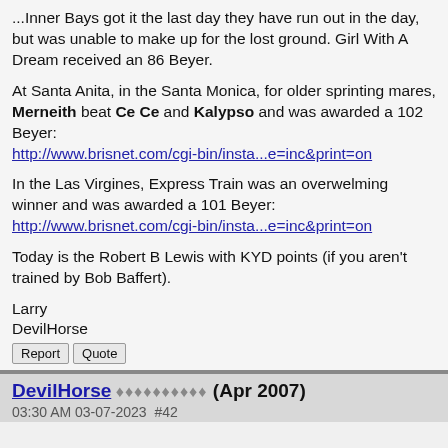...Inner Bays got it the last day they have run out in the day, but was unable to make up for the lost ground. Girl With A Dream received an 86 Beyer.
At Santa Anita, in the Santa Monica, for older sprinting mares, Merneith beat Ce Ce and Kalypso and was awarded a 102 Beyer: http://www.brisnet.com/cgi-bin/insta...e=inc&print=on
In the Las Virgines, Express Train was an overwelming winner and was awarded a 101 Beyer: http://www.brisnet.com/cgi-bin/insta...e=inc&print=on
Today is the Robert B Lewis with KYD points (if you aren't trained by Bob Baffert).
Larry
DevilHorse
Report  Quote
DevilHorse ♦♦♦♦♦♦♦♦♦♦ (Apr 2007)